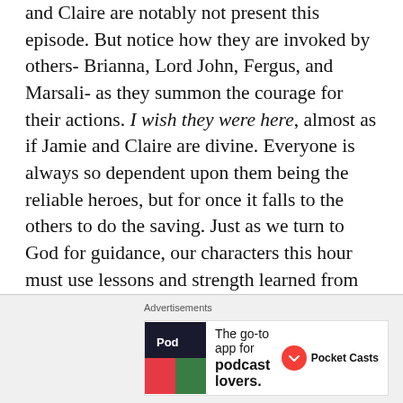and Claire are notably not present this episode. But notice how they are invoked by others- Brianna, Lord John, Fergus, and Marsali- as they summon the courage for their actions. I wish they were here, almost as if Jamie and Claire are divine. Everyone is always so dependent upon them being the reliable heroes, but for once it falls to the others to do the saving. Just as we turn to God for guidance, our characters this hour must use lessons and strength learned from Jamie and Claire. In Jamie's words, freedom is hard-won; grace is something our characters have to achieve for themselves.
Advertisements
[Figure (other): Advertisement banner for Pocket Casts: 'The go-to app for podcast lovers.' with Pocket Casts logo]